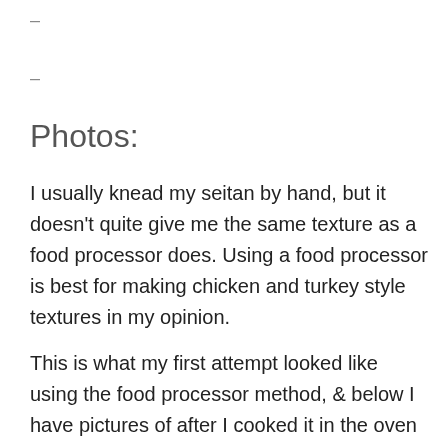–
–
Photos:
I usually knead my seitan by hand, but it doesn't quite give me the same texture as a food processor does. Using a food processor is best for making chicken and turkey style textures in my opinion.
This is what my first attempt looked like using the food processor method, & below I have pictures of after I cooked it in the oven at 400°